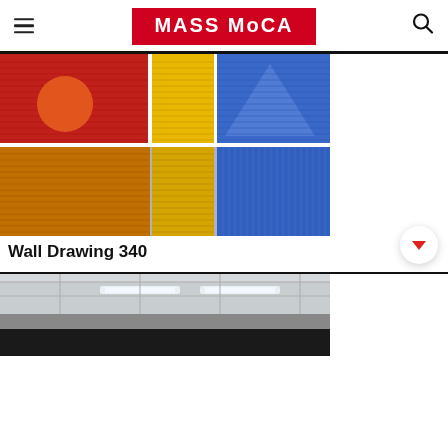[Figure (logo): MASS MoCA logo — white bold text on red background rectangle]
[Figure (photo): Gallery installation photo of Wall Drawing 340 — colorful striped wall panels with red/orange, yellow, and blue sections with geometric shapes]
Wall Drawing 340
[Figure (photo): Partial gallery installation photo showing a room with white ceiling and fluorescent lights, black wall at bottom]